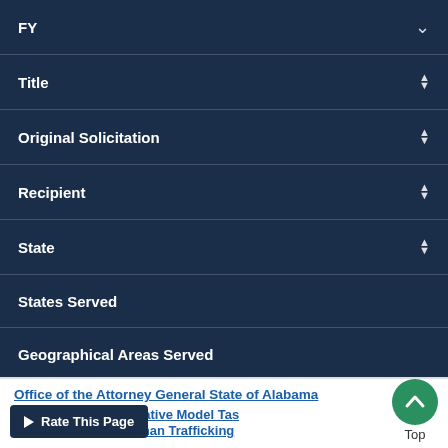FY
Title
Original Solicitation
Recipient
State
States Served
Geographical Areas Served
Amount
Office of the Attorney General State of Alabama
0 Enhanced Collaborative Model Task Force to Combat Human Trafficking